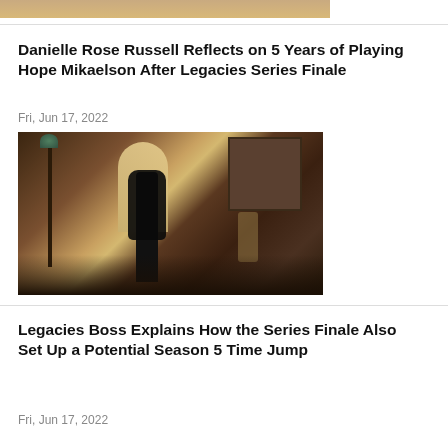[Figure (photo): Top portion of a photo, partially cropped, showing warm/light tones at the top of the page]
Danielle Rose Russell Reflects on 5 Years of Playing Hope Mikaelson After Legacies Series Finale
Fri, Jun 17, 2022
[Figure (photo): Dark moody scene from Legacies TV show featuring a woman with long dark hair standing in a dimly lit room with an arched window letting in light]
Legacies Boss Explains How the Series Finale Also Set Up a Potential Season 5 Time Jump
Fri, Jun 17, 2022